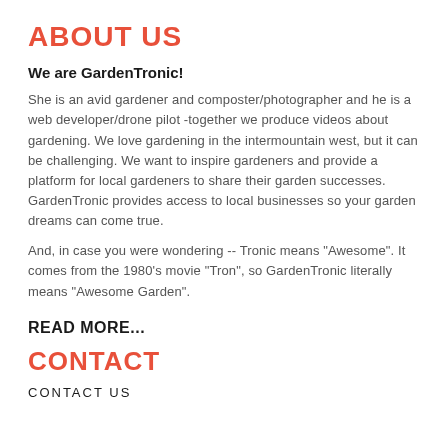ABOUT US
We are GardenTronic!
She is an avid gardener and composter/photographer and he is a web developer/drone pilot -together we produce videos about gardening. We love gardening in the intermountain west, but it can be challenging. We want to inspire gardeners and provide a platform for local gardeners to share their garden successes. GardenTronic provides access to local businesses so your garden dreams can come true.
And, in case you were wondering -- Tronic means "Awesome". It comes from the 1980's movie "Tron", so GardenTronic literally means "Awesome Garden".
READ MORE...
CONTACT
CONTACT US